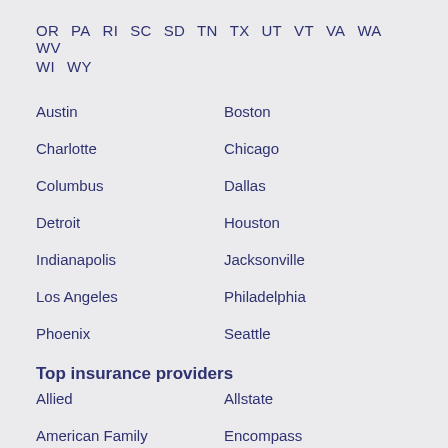OR  PA  RI  SC  SD  TN  TX  UT  VT  VA  WA  WV  WI  WY
Austin
Boston
Charlotte
Chicago
Columbus
Dallas
Detroit
Houston
Indianapolis
Jacksonville
Los Angeles
Philadelphia
Phoenix
Seattle
Top insurance providers
Allied
Allstate
American Family
Encompass
Farmers
Mercury